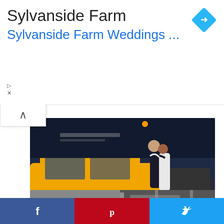Sylvanside Farm
Sylvanside Farm Weddings ...
[Figure (photo): Bride and groom embracing on a city street with a yellow taxi cab in the foreground, blurred urban background]
Vote
[Figure (photo): Partially visible grayscale photo of an urban/street scene with yellow taxi visible]
[Figure (infographic): Social media share buttons: Facebook (blue), Pinterest (red), Twitter (cyan)]